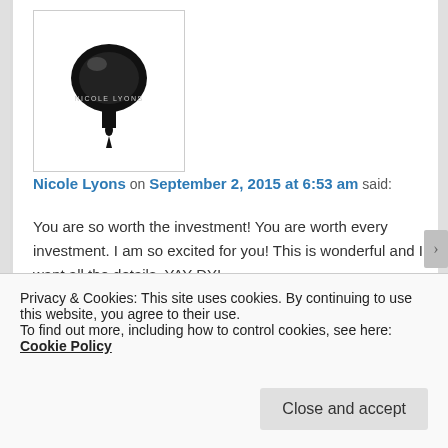[Figure (logo): Nicole Lyons logo: black illustration of a chef hat / mushroom shape with text 'NICOLE LYONS' below and a drip]
Nicole Lyons on September 2, 2015 at 6:53 am said:
You are so worth the investment! You are worth every investment. I am so excited for you! This is wonderful and I want all the details. YAY DY!

xoxxo
[Figure (photo): Profile photo of dyane, a woman with dark hair]
dyane on September 2, 2015 at 9:49 am
Privacy & Cookies: This site uses cookies. By continuing to use this website, you agree to their use.
To find out more, including how to control cookies, see here: Cookie Policy
Close and accept